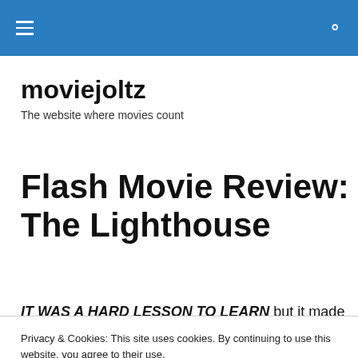moviejoltz — navigation bar
moviejoltz
The website where movies count
Flash Movie Review: The Lighthouse
IT WAS A HARD LESSON TO LEARN but it made my life
Privacy & Cookies: This site uses cookies. By continuing to use this website, you agree to their use. To find out more, including how to control cookies, see here: Cookie Policy. Close and accept
tell them. There was this one salesman who trained